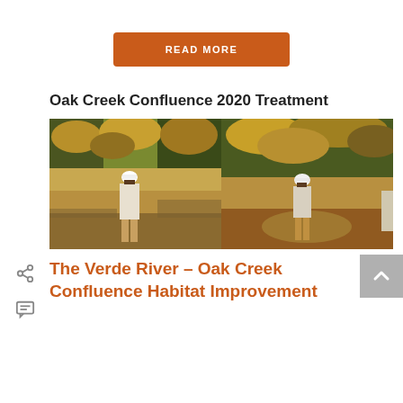READ MORE
Oak Creek Confluence 2020 Treatment
[Figure (photo): Two side-by-side outdoor photos showing a person in a white hard hat and khaki pants standing in a natural area with dry grass and trees — before and after treatment views of Oak Creek Confluence.]
The Verde River – Oak Creek Confluence Habitat Improvement